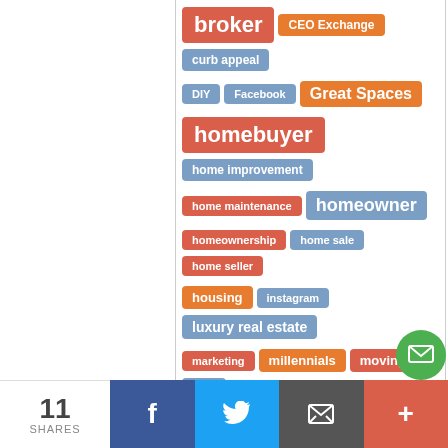[Figure (infographic): Tag cloud showing real estate related keywords in colored pill-shaped tags (red, orange, blue). Tags include: broker, CEO Exchange, curb appeal, DIY, Facebook, Great Spaces, homebuyer, home improvement, home maintenance, homeowner, homeownership, home sale, home seller, housing, instagram, luxury real estate, marketing, millennials, moving, NAR, new home, newsmaker, RealEdge Podcast, real estate, real estate agent, real estate event, real estate marketing]
11 SHARES | Facebook | Twitter | Email | More